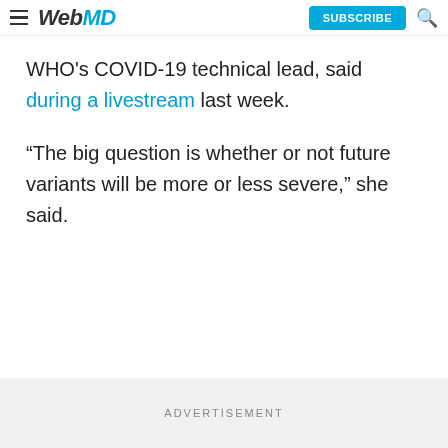WebMD — SUBSCRIBE (button) — Search icon
WHO's COVID-19 technical lead, said during a livestream last week.
“The big question is whether or not future variants will be more or less severe,” she said.
ADVERTISEMENT